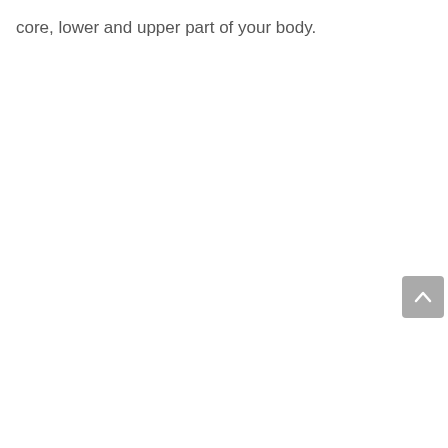core, lower and upper part of your body.
[Figure (other): Back to top button — a gray rounded rectangle with a white upward-pointing chevron arrow icon]